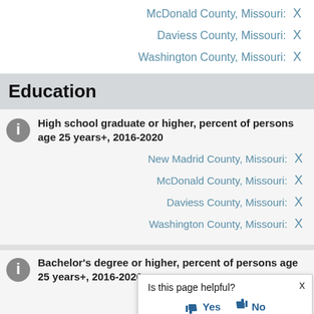McDonald County, Missouri: X
Daviess County, Missouri: X
Washington County, Missouri: X
Education
High school graduate or higher, percent of persons age 25 years+, 2016-2020
New Madrid County, Missouri: X
McDonald County, Missouri: X
Daviess County, Missouri: X
Washington County, Missouri: X
Bachelor's degree or higher, percent of persons age 25 years+, 2016-2020
New Madrid C...
McDonald C...
Is this page helpful? Yes No